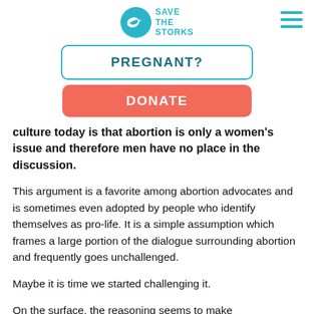SAVE THE STORKS
[Figure (logo): Save the Storks logo — teal circle with a stork/dove bird and the text SAVE THE STORKS]
[Figure (other): Hamburger menu icon (three horizontal teal lines)]
PREGNANT?
DONATE
culture today is that abortion is only a women's issue and therefore men have no place in the discussion.
This argument is a favorite among abortion advocates and is sometimes even adopted by people who identify themselves as pro-life. It is a simple assumption which frames a large portion of the dialogue surrounding abortion and frequently goes unchallenged.
Maybe it is time we started challenging it.
On the surface, the reasoning seems to make